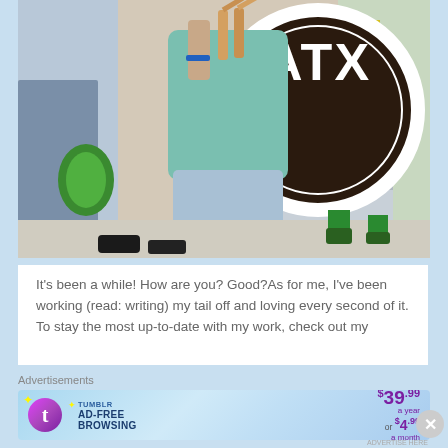[Figure (photo): A person holding drumsticks behind a large bass drum painted dark brown/maroon with the letters 'ATX' in white inside a white circle. The scene appears to be an outdoor parade or march. Other band members and instruments visible in the background.]
It's been a while! How are you? Good?As for me, I've been working (read: writing) my tail off and loving every second of it. To stay the most up-to-date with my work, check out my
Advertisements
[Figure (screenshot): Tumblr ad-free browsing advertisement banner. Shows Tumblr logo and text 'TUMBLR AD-FREE BROWSING' with pricing '$39.99 a year or $4.99 a month'.]